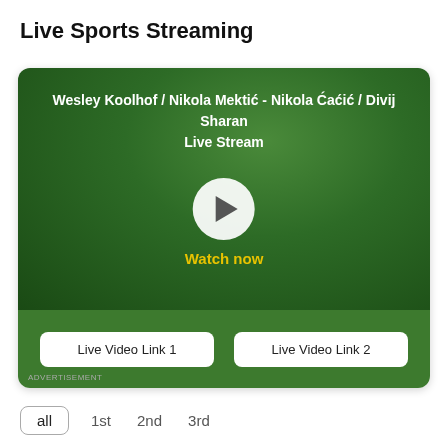Live Sports Streaming
[Figure (screenshot): Live streaming card with dark green gradient background showing match title 'Wesley Koolhof / Nikola Mektić - Nikola Ćaćić / Divij Sharan Live Stream', a white play button circle in the center, yellow 'Watch now' text, and two white buttons at the bottom labeled 'Live Video Link 1' and 'Live Video Link 2' on a green background. An 'ADVERTISEMENT' label appears at the bottom left.]
all
1st
2nd
3rd